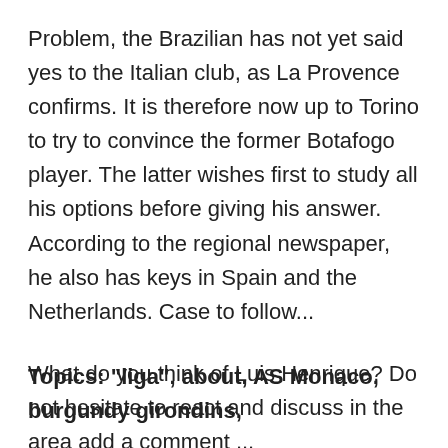Problem, the Brazilian has not yet said yes to the Italian club, as La Provence confirms. It is therefore now up to Torino to try to convince the former Botafogo player. The latter wishes first to study all his options before giving his answer. According to the regional newspaper, he also has keys in Spain and the Netherlands. Case to follow...
What do you think of Luis Henrique? Do not hesitate to react and discuss in the area add a comment ...
Topics: "liga", about, AS Monaco, burgundy girondins,